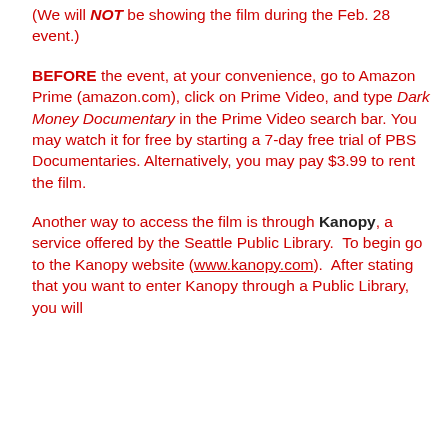(We will NOT be showing the film during the Feb. 28 event.)
BEFORE the event, at your convenience, go to Amazon Prime (amazon.com), click on Prime Video, and type Dark Money Documentary in the Prime Video search bar. You may watch it for free by starting a 7-day free trial of PBS Documentaries. Alternatively, you may pay $3.99 to rent the film.
Another way to access the film is through Kanopy, a service offered by the Seattle Public Library.  To begin go to the Kanopy website (www.kanopy.com).  After stating that you want to enter Kanopy through a Public Library, you will